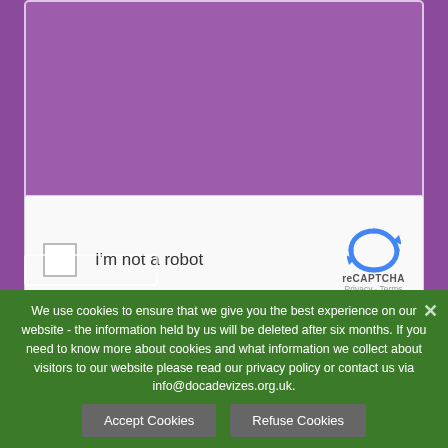[Figure (screenshot): Purple background with a text area input box (partially visible, cropped at top), a reCAPTCHA 'I'm not a robot' widget with checkbox and Google reCAPTCHA logo, and a partially visible submit button at the bottom.]
We use cookies to ensure that we give you the best experience on our website - the information held by us will be deleted after six months. If you need to know more about cookies and what information we collect about visitors to our website please read our privacy policy or contact us via info@docadevizes.org.uk.
Accept Cookies
Refuse Cookies